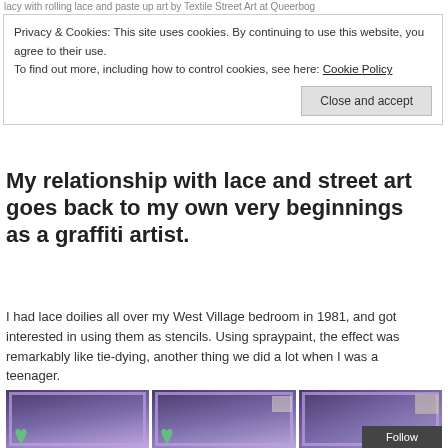lacy with rolling lace and paste up art by Textile Street Art at Queerbog
Privacy & Cookies: This site uses cookies. By continuing to use this website, you agree to their use.
To find out more, including how to control cookies, see here: Cookie Policy
Close and accept
My relationship with lace and street art goes back to my own very beginnings as a graffiti artist.
I had lace doilies all over my West Village bedroom in 1981, and got interested in using them as stencils. Using spraypaint, the effect was remarkably like tie-dying, another thing we did a lot when I was a teenager.
[Figure (photo): Three photos side-by-side showing purple-painted window frames with plant decorations against a dark background. A 'Follow' button overlaps the bottom-right corner of the third photo.]